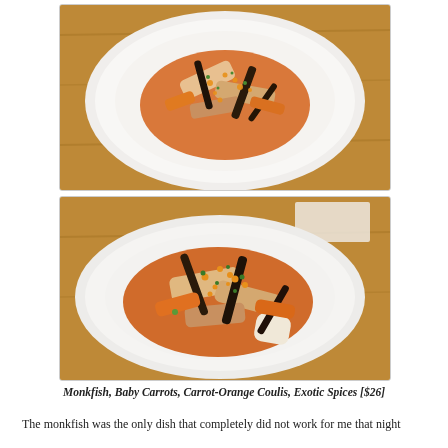[Figure (photo): Top-down view of a white plate containing monkfish with baby carrots, orange-carrot coulis, and exotic spices sprinkled on top, set on a wooden table surface.]
[Figure (photo): Close-up view of a white plate with monkfish, baby carrots, carrot-orange coulis, and exotic spices, showing the dish from a slightly elevated angle on a restaurant table.]
Monkfish, Baby Carrots, Carrot-Orange Coulis, Exotic Spices [$26]
The monkfish was the only dish that completely did not work for me that night...